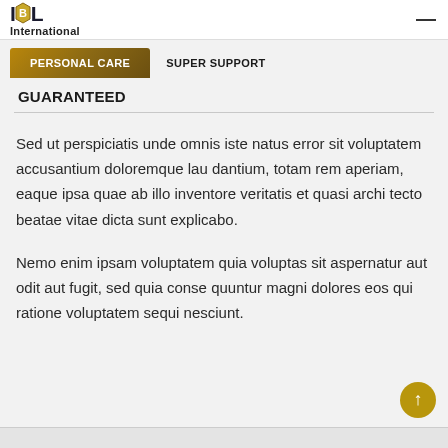IBL International
PERSONAL CARE   SUPER SUPPORT
GUARANTEED
Sed ut perspiciatis unde omnis iste natus error sit voluptatem accusantium doloremque lau dantium, totam rem aperiam, eaque ipsa quae ab illo inventore veritatis et quasi archi tecto beatae vitae dicta sunt explicabo.
Nemo enim ipsam voluptatem quia voluptas sit aspernatur aut odit aut fugit, sed quia conse quuntur magni dolores eos qui ratione voluptatem sequi nesciunt.